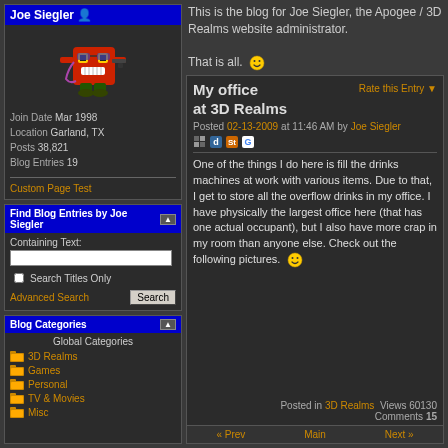Joe Siegler
[Figure (illustration): Pixel art avatar of a red character with sunglasses holding a gun]
Join Date Mar 1998
Location Garland, TX
Posts 38,821
Blog Entries 19
Custom Page Test
Find Blog Entries by Joe Siegler
Containing Text:
Search Titles Only
Advanced Search
Blog Categories
Global Categories
3D Realms
Games
Personal
TV & Movies
Misc
This is the blog for Joe Siegler, the Apogee / 3D Realms website administrator.

That is all.
My office at 3D Realms
Posted 02-13-2009 at 11:46 AM by Joe Siegler
One of the things I do here is fill the drinks machines at work with various items. Due to that, I get to store all the overflow drinks in my office. I have physically the largest office here (that has one actual occupant), but I also have more crap in my room than anyone else. Check out the following pictures.
Posted in 3D Realms  Views 60130
Comments 15
« Prev    Main    Next »